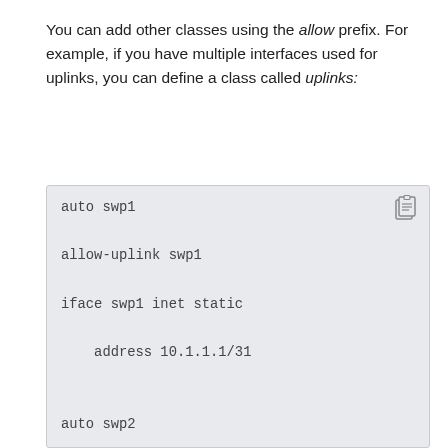You can add other classes using the allow prefix. For example, if you have multiple interfaces used for uplinks, you can define a class called uplinks:
[Figure (screenshot): Code block showing network interface configuration with auto swp1, allow-uplink swp1, iface swp1 inet static, address 10.1.1.1/31, auto swp2, allow-uplink swp2, iface swp2 inet static]